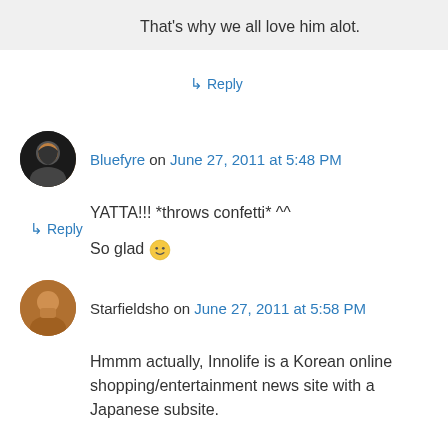That's why we all love him alot.
↳ Reply
Bluefyre on June 27, 2011 at 5:48 PM
YATTA!!! *throws confetti* ^^

So glad 🙂
↳ Reply
Starfieldsho on June 27, 2011 at 5:58 PM
Hmmm actually, Innolife is a Korean online shopping/entertainment news site with a Japanese subsite.